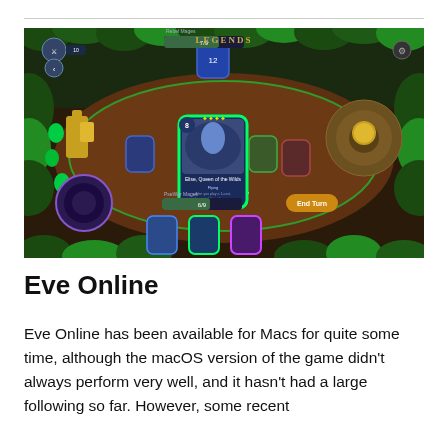[Figure (screenshot): In-game screenshot of a digital card game with a fantasy forest arena setting. The board shows multiple cards placed on a green-lit playing field surrounded by lush vegetation. A highlighted card in the center reads 'Elise, Queen of the Wilds' with stats 8/6 and abilities Flying. The player's health shows 17 and opponent's 12. An 'End Turn' button is visible on the right. The player's deck is shown as 6/9 and the opponent's as 7/9.]
Eve Online
Eve Online has been available for Macs for quite some time, although the macOS version of the game didn't always perform very well, and it hasn't had a large following so far. However, some recent